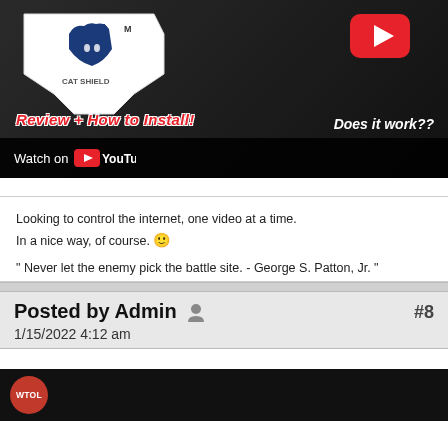[Figure (screenshot): YouTube video thumbnail showing a Cat Shield product with 'Review + How to Install! Does it work??' text and YouTube Watch button overlay]
Looking to control the internet, one video at a time.
In a nice way, of course. 🙂
" Never let the enemy pick the battle site. - George S. Patton, Jr. "
Posted by Admin   #8
1/15/2022 4:12 am
[Figure (screenshot): Bottom portion of another video thumbnail with WTOL logo badge on dark background]